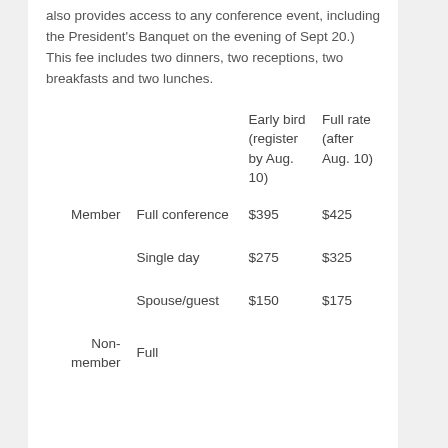also provides access to any conference event, including the President's Banquet on the evening of Sept 20.) This fee includes two dinners, two receptions, two breakfasts and two lunches.
|  |  | Early bird (register by Aug. 10) | Full rate (after Aug. 10) |
| --- | --- | --- | --- |
| Member | Full conference | $395 | $425 |
|  | Single day | $275 | $325 |
|  | Spouse/guest | $150 | $175 |
| Non-member | Full ... |  |  |